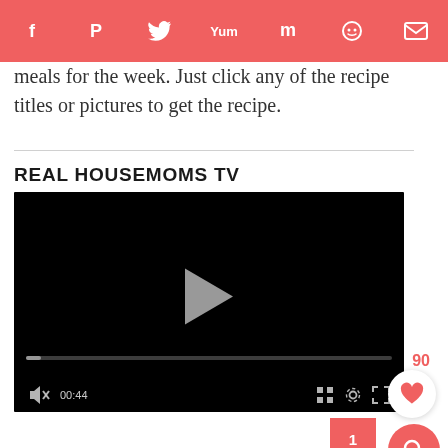Social sharing bar with icons: Facebook, Pinterest, Twitter, Yummly, Flipboard, Reddit, Email
meals for the week. Just click any of the recipe titles or pictures to get the recipe.
REAL HOUSEMOMS TV
[Figure (screenshot): Embedded video player with black background, play button in center, progress bar near bottom, controls showing muted audio icon, timestamp 00:44, grid icon, settings gear icon, and fullscreen icon]
1